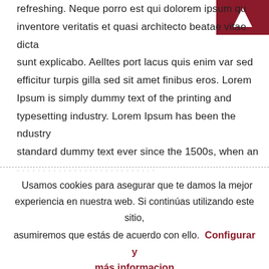refreshing. Neque porro est qui dolorem ipsum qued inventore veritatis et quasi architecto beatae vitae dicta sunt explicabo. Aelltes port lacus quis enim var sed efficitur turpis gilla sed sit amet finibus eros. Lorem Ipsum is simply dummy text of the printing and typesetting industry. Lorem Ipsum has been the ndustry standard dummy text ever since the 1500s, when an
Usamos cookies para asegurar que te damos la mejor experiencia en nuestra web. Si continúas utilizando este sitio, asumiremos que estás de acuerdo con ello. Configurar y más informacion
RECHAZAR
ACEPTAR